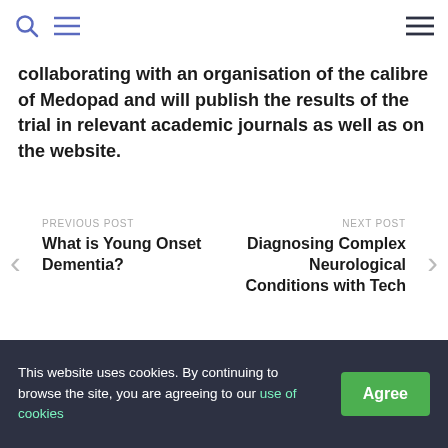[search icon] [menu icon] ... [hamburger icon]
collaborating with an organisation of the calibre of Medopad and will publish the results of the trial in relevant academic journals as well as on the website.
PREVIOUS POST
What is Young Onset Dementia?

NEXT POST
Diagnosing Complex Neurological Conditions with Tech
Leave a Reply
This website uses cookies. By continuing to browse the site, you are agreeing to our use of cookies